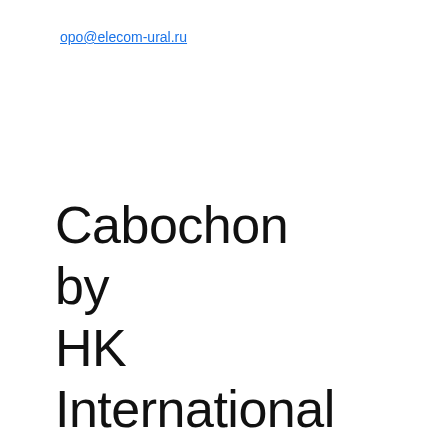opo@elecom-ural.ru
Cabochon by HK International Gems Natural Moonstone Cushion